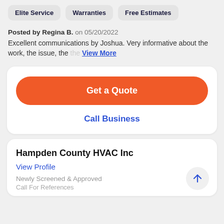Elite Service
Warranties
Free Estimates
Posted by Regina B. on 05/20/2022
Excellent communications by Joshua. Very informative about the work, the issue, the View More
Get a Quote
Call Business
Hampden County HVAC Inc
View Profile
Newly Screened & Approved
Call For References